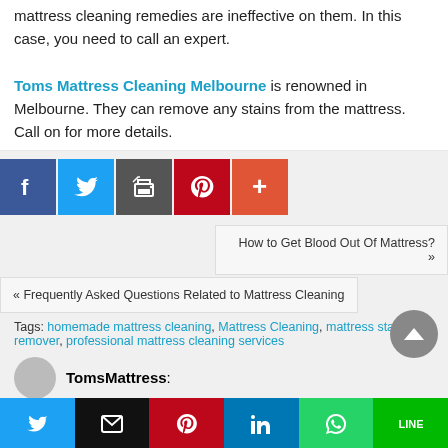mattress cleaning remedies are ineffective on them. In this case, you need to call an expert.
Toms Mattress Cleaning Melbourne is renowned in Melbourne. They can remove any stains from the mattress. Call on for more details.
[Figure (infographic): Social share buttons: Facebook (blue), Twitter (light blue), Print (gray), Pinterest (red), Plus/More (orange-red)]
How to Get Blood Out Of Mattress? »
« Frequently Asked Questions Related to Mattress Cleaning
Tags: homemade mattress cleaning, Mattress Cleaning, mattress stains remover, professional mattress cleaning services
TomsMattress:
[Figure (infographic): Bottom share bar: Twitter (blue), Email (black), Pinterest (red), LinkedIn (blue), WhatsApp (green), Line (green)]